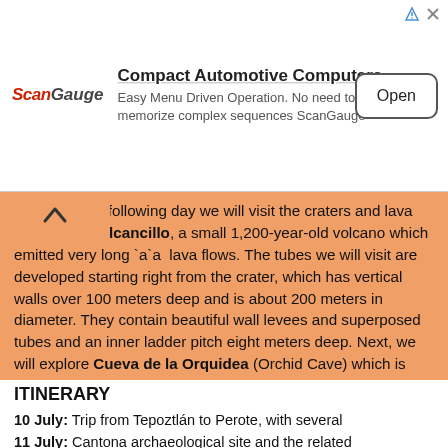[Figure (other): Advertisement banner for ScanGauge Compact Automotive Computers with logo, headline, subtext, and Open button]
erote and the following day we will visit the craters and lava tubes of El Volcancillo, a small 1,200-year-old volcano which emitted very long `a`a lava flows. The tubes we will visit are developed starting right from the crater, which has vertical walls over 100 meters deep and is about 200 meters in diameter. They contain beautiful wall levees and superposed tubes and an inner ladder pitch eight meters deep. Next, we will explore Cueva de la Orquidea (Orchid Cave) which is actually located inside the state capital of Jalapa. From here, participants can continue on their own towards the city of Veracruz and other touristic places or return to Mexico City on the bus.
ITINERARY
10 July: Trip from Tepoztlán to Perote, with several volcanological stops on the way (Sorry, no caves today). Sleep at hotel in Perote
11 July: Cantona archaeological site and the related